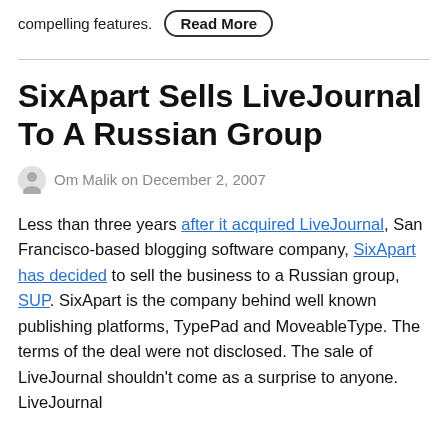compelling features. Read More
SixApart Sells LiveJournal To A Russian Group
Om Malik on December 2, 2007
Less than three years after it acquired LiveJournal, San Francisco-based blogging software company, SixApart has decided to sell the business to a Russian group, SUP. SixApart is the company behind well known publishing platforms, TypePad and MoveableType. The terms of the deal were not disclosed. The sale of LiveJournal shouldn't come as a surprise to anyone. LiveJournal